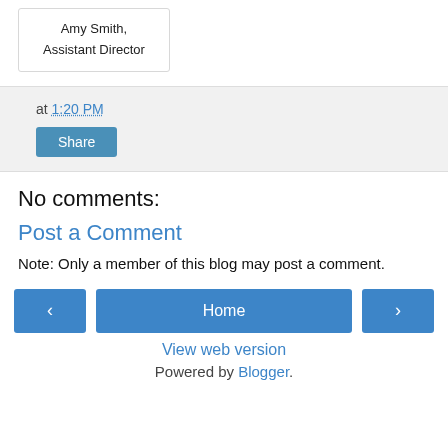Amy Smith,
Assistant Director
at 1:20 PM
Share
No comments:
Post a Comment
Note: Only a member of this blog may post a comment.
‹
Home
›
View web version
Powered by Blogger.